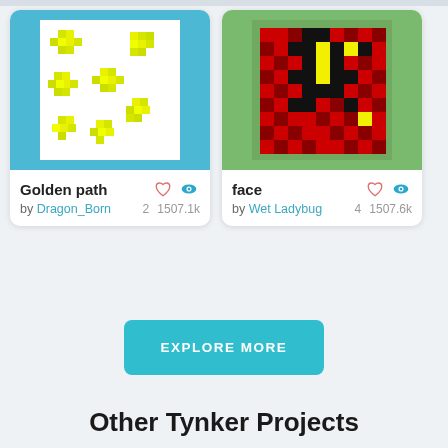[Figure (illustration): Card showing 'Golden path' pixel art: yellow blocky flower shapes on white background, inside a blue-bordered card]
Golden path
by Dragon_Born
2  1507.1k
[Figure (illustration): Card showing 'face' pixel art: red and black grid pattern with yellow accents on green background]
face
by Wet Ladybug
4  1507.6k
EXPLORE MORE
Other Tynker Projects